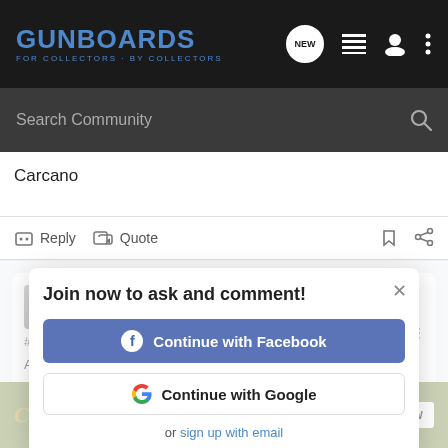GUNBOARDS FOR COLLECTORS · BY COLLECTORS
Search Community
Carcano
Reply  Quote
Flakshield · Registered
Joined O…
#8 · Jan 21, 2009
A reasonable compromise would be to send the " enemy combatants" back to Afghanistan and Iraq to be tried by the civilian governments there. The results would be swift and final.
Flakshield
[Figure (screenshot): Join now to ask and comment! modal overlay with Continue with Facebook button, Continue with Google button, and 'or sign up with email' link]
[Figure (infographic): Cabela's advertisement banner: 'RELOADING SUPPLIES' with 'SHOP NOW' button]